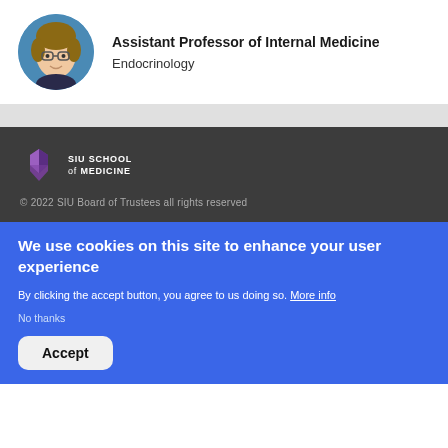[Figure (photo): Circular profile photo of a woman with glasses and curly hair against a blue background]
Assistant Professor of Internal Medicine
Endocrinology
[Figure (logo): SIU School of Medicine logo — purple angular icon with SIU SCHOOL of MEDICINE text]
© 2022 SIU Board of Trustees all rights reserved
We use cookies on this site to enhance your user experience
By clicking the accept button, you agree to us doing so. More info
No thanks
Accept